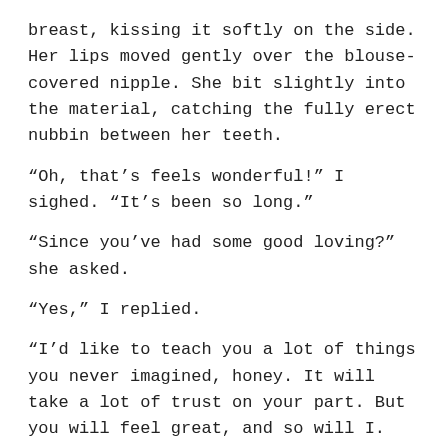breast, kissing it softly on the side. Her lips moved gently over the blouse-covered nipple. She bit slightly into the material, catching the fully erect nubbin between her teeth.
“Oh, that’s feels wonderful!” I sighed. “It’s been so long.”
“Since you’ve had some good loving?” she asked.
“Yes,” I replied.
“I’d like to teach you a lot of things you never imagined, honey. It will take a lot of trust on your part. But you will feel great, and so will I. What do you think?”
I opened my eyes and looked into hers. “I’m game,” I said.
“Let’s see these pretty undies.” She leaned back slightly, looking down at my legs. I felt my skirt rising